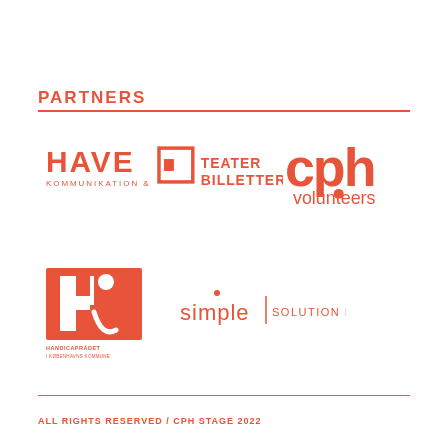PARTNERS
[Figure (logo): HAVE KOMMUNIKATION & PR logo in coral/salmon red]
[Figure (logo): TEATER BILLETTER logo with square bracket icon in coral/salmon red]
[Figure (logo): cph volunteers logo in coral/salmon red]
[Figure (logo): Handicaprådet i Københavns Kommune logo - H symbol in coral/salmon red]
[Figure (logo): simple | SOLUTION IT logo in coral/salmon red]
ALL RIGHTS RESERVED / CPH STAGE 2022